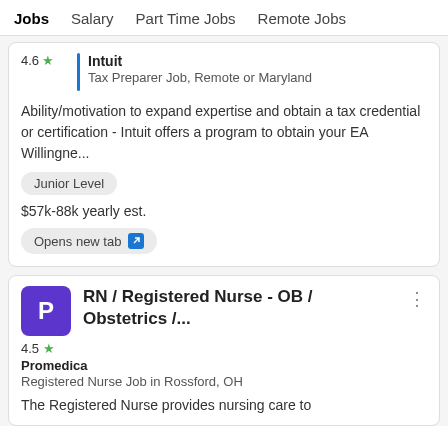Jobs  Salary  Part Time Jobs  Remote Jobs
4.6 ★ Intuit
Tax Preparer Job, Remote or Maryland

Ability/motivation to expand expertise and obtain a tax credential or certification - Intuit offers a program to obtain your EA Willingne...

Junior Level

$57k-88k yearly est.

Opens new tab
P 4.5 ★ RN / Registered Nurse - OB / Obstetrics /...
Promedica
Registered Nurse Job in Rossford, OH

The Registered Nurse provides nursing care to